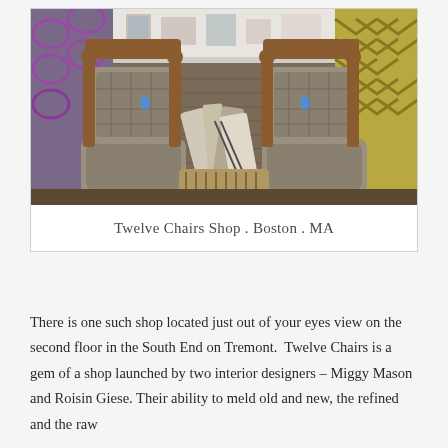[Figure (photo): Two ornate wooden chairs with grey plaid upholstery facing away from viewer, positioned in front of a fireplace mantel with shelving. Various fabrics and decor items visible around the chairs.]
Twelve Chairs Shop . Boston . MA
There is one such shop located just out of your eyes view on the second floor in the South End on Tremont.  Twelve Chairs is a gem of a shop launched by two interior designers – Miggy Mason and Roisin Giese. Their ability to meld old and new, the refined and the raw